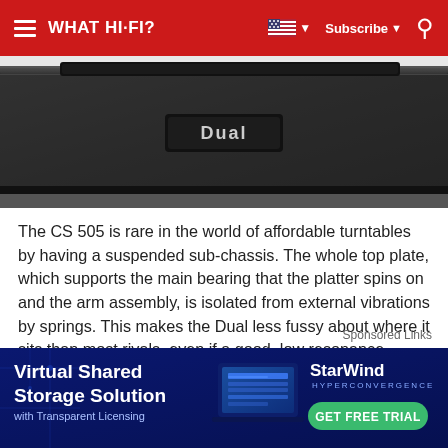WHAT HI-FI?  Subscribe  [search]
[Figure (photo): Close-up photo of a Dual CS 505 turntable showing textured black surface with 'Dual' branding badge]
The CS 505 is rare in the world of affordable turntables by having a suspended sub-chassis. The whole top plate, which supports the main bearing that the platter spins on and the arm assembly, is isolated from external vibrations by springs. This makes the Dual less fussy about where it sits than most rivals, even if a good, low resonance support still makes for a better performance.
Sponsored Links
[Figure (infographic): Advertisement banner for StarWind Hyperconvergence - Virtual Shared Storage Solution with Transparent Licensing. Dark blue background with laptop image and GET FREE TRIAL button.]